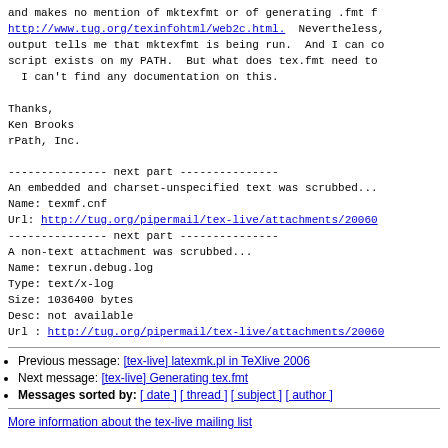and makes no mention of mktexfmt or of generating .fmt f
http://www.tug.org/texinfohtml/web2c.html.  Nevertheless,
output tells me that mktexfmt is being run.  And I can co
script exists on my PATH.  But what does tex.fmt need to
  I can't find any documentation on this.

Thanks,
Ken Brooks
rPath, Inc.

--------------- next part ---------------
An embedded and charset-unspecified text was scrubbed...
Name: texmf.cnf
Url: http://tug.org/pipermail/tex-live/attachments/20060
--------------- next part ---------------
A non-text attachment was scrubbed...
Name: texrun.debug.log
Type: text/x-log
Size: 1036400 bytes
Desc: not available
Url : http://tug.org/pipermail/tex-live/attachments/20060
Previous message: [tex-live] latexmk.pl in TeXlive 2006
Next message: [tex-live] Generating tex.fmt
Messages sorted by: [ date ] [ thread ] [ subject ] [ author ]
More information about the tex-live mailing list